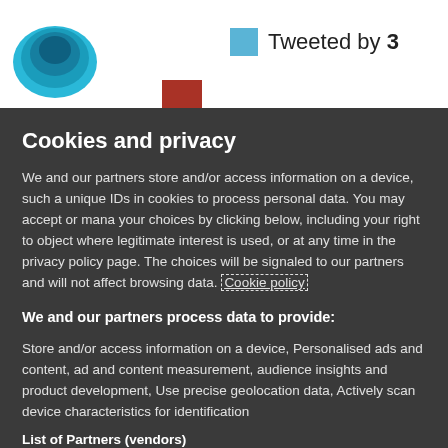[Figure (screenshot): Top white bar with circular teal logo on left and 'Tweeted by 3' badge with teal square icon on right, plus a partial red bar]
Cookies and privacy
We and our partners store and/or access information on a device, such a unique IDs in cookies to process personal data. You may accept or manage your choices by clicking below, including your right to object where legitimate interest is used, or at any time in the privacy policy page. These choices will be signaled to our partners and will not affect browsing data. Cookie policy
We and our partners process data to provide:
Store and/or access information on a device, Personalised ads and content, ad and content measurement, audience insights and product development, Use precise geolocation data, Actively scan device characteristics for identification
List of Partners (vendors)
I Accept